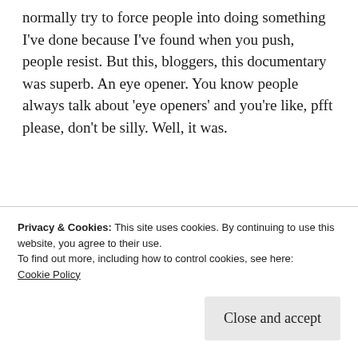normally try to force people into doing something I've done because I've found when you push, people resist. But this, bloggers, this documentary was superb. An eye opener. You know people always talk about 'eye openers' and you're like, pfft please, don't be silly. Well, it was.
[Figure (other): Advertisement banner with dark navy background, a pink 'Start now' button, and a circular dotted logo reading 'CROWD' in teal text on the right side.]
Privacy & Cookies: This site uses cookies. By continuing to use this website, you agree to their use.
To find out more, including how to control cookies, see here:
Cookie Policy
Close and accept